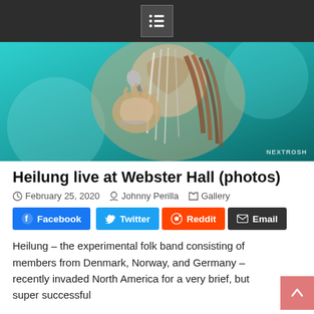Menu icon / navigation bar
[Figure (photo): Concert photo of a Heilung performer singing into a microphone with face paint, bone decorations in hair, and white clothing against a teal stage light background. Watermark: NEXTROSH]
Heilung live at Webster Hall (photos)
February 25, 2020   Johnny Perilla   Gallery
Facebook  Twitter  Reddit  Email
Heilung – the experimental folk band consisting of members from Denmark, Norway, and Germany – recently invaded North America for a very brief, but super successful